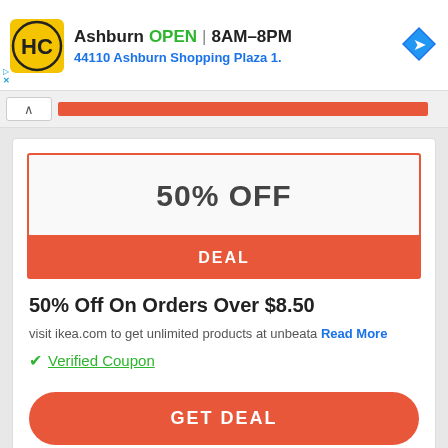[Figure (logo): HC logo in yellow circle with black H and C letters, ad banner for Ashburn location showing OPEN 8AM-8PM and address 44110 Ashburn Shopping Plaza 1., with navigation arrow icon]
50% OFF
DEAL
50% Off On Orders Over $8.50
visit ikea.com to get unlimited products at unbeata
Read More
✓ Verified Coupon
GET DEAL